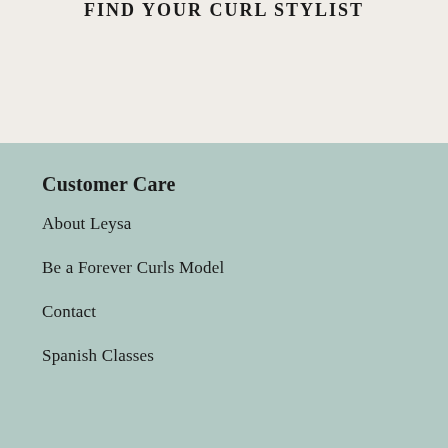FIND YOUR CURL STYLIST
Customer Care
About Leysa
Be a Forever Curls Model
Contact
Spanish Classes